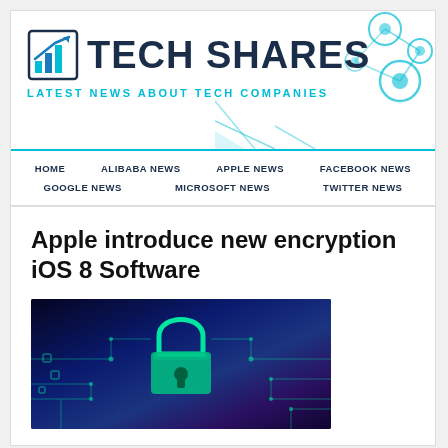TECH SHARES — LATEST NEWS ABOUT TECH COMPANIES
HOME   ALIBABA NEWS   APPLE NEWS   FACEBOOK NEWS   GOOGLE NEWS   MICROSOFT NEWS   TWITTER NEWS
Apple introduce new encryption iOS 8 Software
[Figure (photo): Glowing green padlock on a dark blue circuit board background, representing encryption/cybersecurity.]